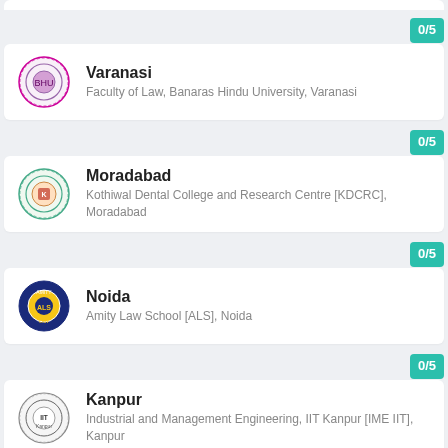Varanasi — Faculty of Law, Banaras Hindu University, Varanasi — 0/5
Moradabad — Kothiwal Dental College and Research Centre [KDCRC], Moradabad — 0/5
Noida — Amity Law School [ALS], Noida — 0/5
Kanpur — Industrial and Management Engineering, IIT Kanpur [IME IIT], Kanpur — 0/5
Varanasi — 0/5